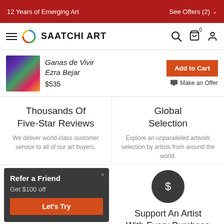12 Years of Emerging Art | See Offers (2)
[Figure (logo): Saatchi Art navigation logo with hamburger menu, circular logo, brand name SAATCHI ART, search icon, cart icon, and user icon]
[Figure (photo): Thumbnail artwork image - colorful abstract painting (Ganas de Vivir by Ezra Bejar)]
Ganas de Vivir
Ezra Bejar
$535
Add to Cart
Make an Offer
Thousands Of Five-Star Reviews
We deliver world-class customer service to all of our art buyers.
Global Selection
Explore an unparalleled artwork selection by artists from around the world.
Refer a Friend
Get $100 off
Let's Try
[Figure (other): Dark circle with dollar sign symbol]
Support An Artist With Every Purchase
We pay our artists more on
Our 7-day, money-back